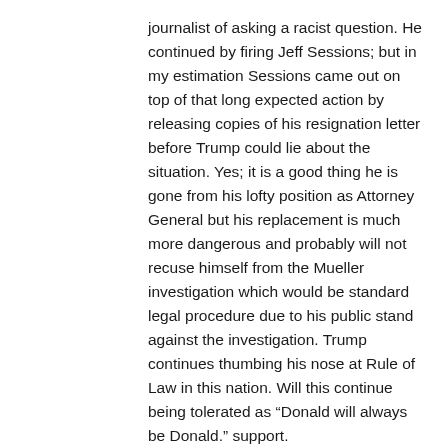journalist of asking a racist question. He continued by firing Jeff Sessions; but in my estimation Sessions came out on top of that long expected action by releasing copies of his resignation letter before Trump could lie about the situation. Yes; it is a good thing he is gone from his lofty position as Attorney General but his replacement is much more dangerous and probably will not recuse himself from the Mueller investigation which would be standard legal procedure due to his public stand against the investigation. Trump continues thumbing his nose at Rule of Law in this nation. Will this continue being tolerated as “Donald will always be Donald.” support.
Trump is beginning to lose his hold on our